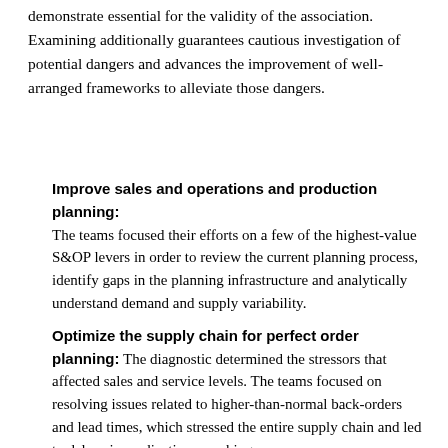demonstrate essential for the validity of the association. Examining additionally guarantees cautious investigation of potential dangers and advances the improvement of well-arranged frameworks to alleviate those dangers.
Improve sales and operations and production planning: The teams focused their efforts on a few of the highest-value S&OP levers in order to review the current planning process, identify gaps in the planning infrastructure and analytically understand demand and supply variability.
Optimize the supply chain for perfect order planning: The diagnostic determined the stressors that affected sales and service levels. The teams focused on resolving issues related to higher-than-normal back-orders and lead times, which stressed the entire supply chain and led to delays in medications reaching consumers.
Determine the right inventory level: The teams focused their efforts on a few of the highest-value S&OP levers in order to review the current planning process, identify gaps in the planning infrastructure and analytically